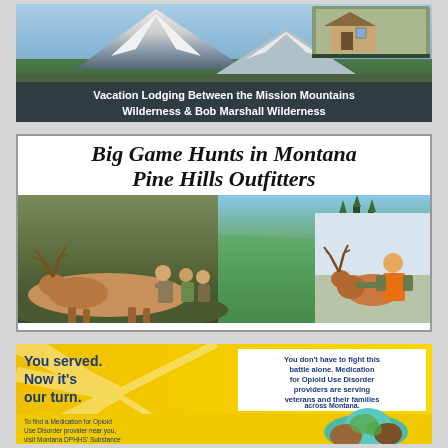[Figure (photo): Mountain vacation lodging advertisement with snowy mountain peaks and cabin photo]
Vacation Lodging Between the Mission Mountains Wilderness & Bob Marshall Wilderness
[Figure (photo): Big Game Hunts in Montana - Pine Hills Outfitters advertisement with hunting photos showing elk and deer]
[Figure (infographic): Veterans opioid use disorder awareness ad - You served. Now it's our turn. Yellow background with teal/brown graphic. Text about Medication for Opioid Use Disorder providers serving veterans across Montana.]